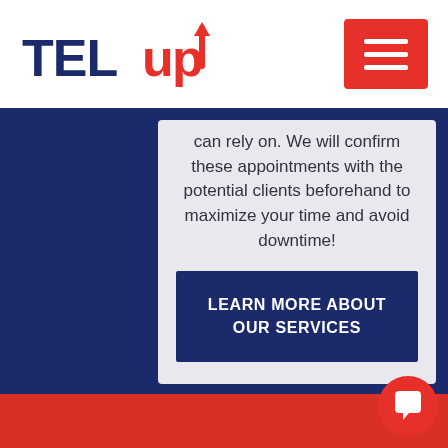[Figure (logo): TelUp logo with orange arrow going upward through the 'p' letter, navy blue text for TEL and orange for 'up']
[Figure (other): Red hamburger menu button with three white horizontal lines]
can rely on. We will confirm these appointments with the potential clients beforehand to maximize your time and avoid downtime!
LEARN MORE ABOUT OUR SERVICES
[Figure (other): Red circular chat bubble icon in bottom right corner]